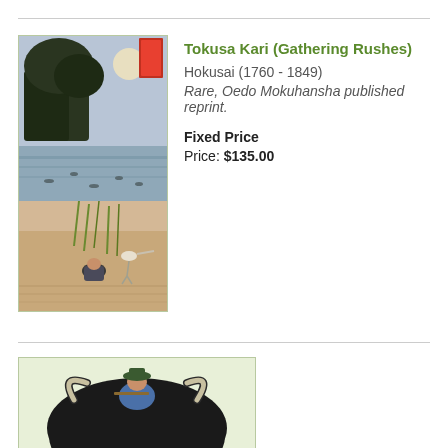[Figure (illustration): Japanese woodblock print thumbnail showing landscape with moon, water, trees, and figures gathering rushes by Hokusai]
Tokusa Kari (Gathering Rushes)
Hokusai (1760 - 1849)
Rare, Oedo Mokuhansha published reprint.
Fixed Price
Price: $135.00
[Figure (illustration): Japanese woodblock print thumbnail showing a figure with a bull/ox, dark background with horns visible]